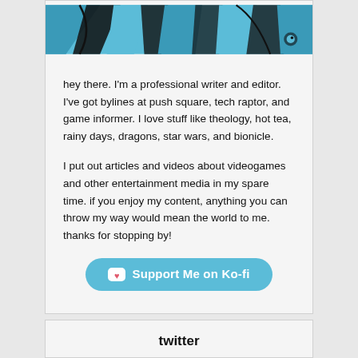[Figure (illustration): Partial illustration with blue and black comic-style artwork visible at the top of the card]
hey there. I'm a professional writer and editor. I've got bylines at push square, tech raptor, and game informer. I love stuff like theology, hot tea, rainy days, dragons, star wars, and bionicle.
I put out articles and videos about videogames and other entertainment media in my spare time. if you enjoy my content, anything you can throw my way would mean the world to me. thanks for stopping by!
[Figure (other): Ko-fi support button with cup icon and heart]
twitter